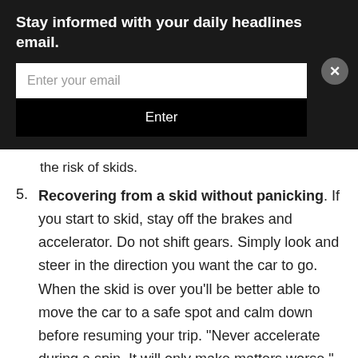Stay informed with your daily headlines email.
Enter your email
Enter
the risk of skids.
5. Recovering from a skid without panicking. If you start to skid, stay off the brakes and accelerator. Do not shift gears. Simply look and steer in the direction you want the car to go. When the skid is over you'll be better able to move the car to a safe spot and calm down before resuming your trip. "Never accelerate during a spin. It will only make matters worse," AAA states.